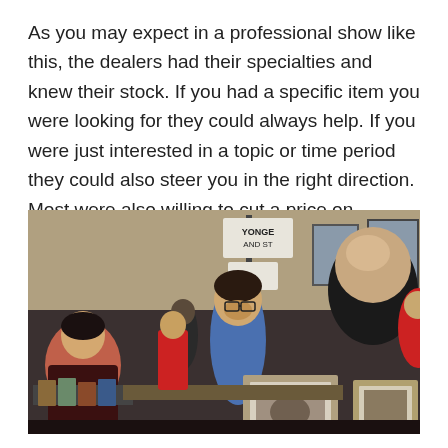As you may expect in a professional show like this, the dealers had their specialties and knew their stock. If you had a specific item you were looking for they could always help. If you were just interested in a topic or time period they could also steer you in the right direction. Most were also willing to cut a price on multiple purchases, and I found the prices on the whole quite reasonable.
[Figure (photo): Indoor antique/collectible show scene with multiple people browsing dealer tables. A bald man in a black jacket leans over items on the right; a man in a blue sweater with glasses stands center; another person on the left looks through books or prints. Framed photographs or prints are visible in the foreground. A sign reading 'YONGE AND ST' and 'IS' is visible on a post in the background. Stone or brick building interior.]